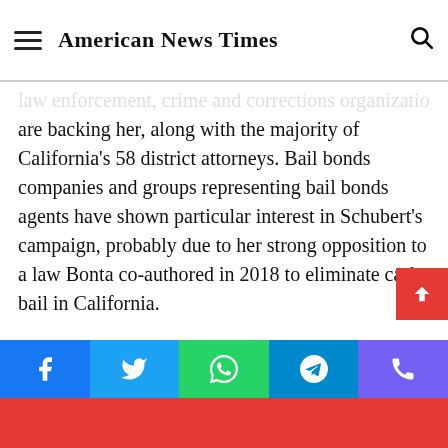American News Times
...law enforcement, crime and corrections organizations are backing her, along with the majority of California's 58 district attorneys. Bail bonds companies and groups representing bail bonds agents have shown particular interest in Schubert's campaign, probably due to her strong opposition to a law Bonta co-authored in 2018 to eliminate cash bail in California.
Schubert has raised $2 million, with an average contribution of $1,400, according to state campaign finance records. She has received support from companies and employees in the agribusiness, real estate and construction industries, and is backed by several Native American tribes that operate large casinos.